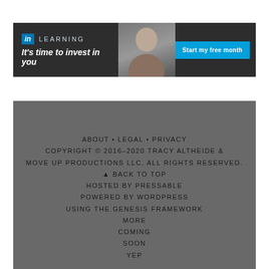[Figure (screenshot): LinkedIn Learning banner advertisement with logo, tagline 'It's time to invest in you', woman photo, and 'Start my free month' button]
ABOUT • LEGAL • PRIVACY
COPYRIGHT © 2016-2020 TRACY ALTHEIDE & MOVE UP PRODUCTIONS LLC. ALL RIGHTS RESERVED.
▲ BACK TO TOP
HOSTED BY PRESSABLE
POWERED BY WORDPRESS
USING THE GENESIS FRAMEWORK
MORE
COMING
SOON
YEP